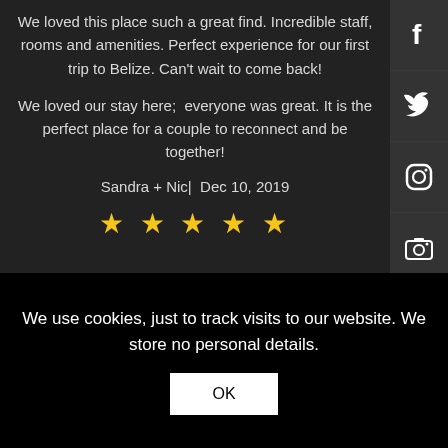We loved this place such a great find. Incredible staff, rooms and amenities. Perfect experience for our first trip to Belize. Can't wait to come back!
We loved our stay here;  everyone was great. It is the perfect place for a couple to reconnect and be together!
Sandra + Nic|  Dec 10, 2019
[Figure (other): Five gold star rating icons]
[Figure (screenshot): SoundCloud embedded player bar with Weisenberg track]
[Figure (other): Social media sidebar icons: Facebook, Twitter, Instagram, Camera, YouTube, Apple]
We use cookies, just to track visits to our website. We store no personal details.